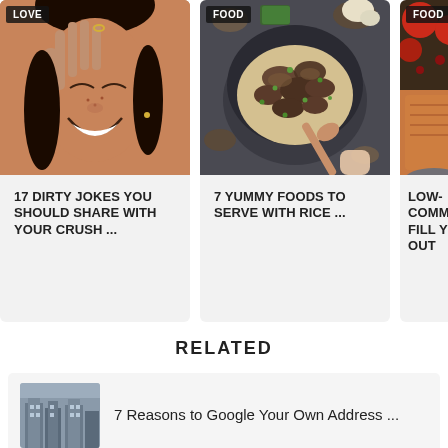[Figure (photo): Woman smiling with hand near face, LOVE category tag]
17 DIRTY JOKES YOU SHOULD SHARE WITH YOUR CRUSH ...
[Figure (photo): Bowl of mushroom risotto with wooden spoon, FOOD category tag]
7 YUMMY FOODS TO SERVE WITH RICE ...
[Figure (photo): Partially visible food image, FOOD category tag, LOW- text visible]
LOW- COMM- FILL Y- OUT
RELATED
[Figure (photo): Small thumbnail image for related article]
7 Reasons to Google Your Own Address ...